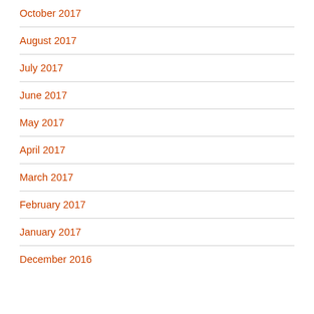October 2017
August 2017
July 2017
June 2017
May 2017
April 2017
March 2017
February 2017
January 2017
December 2016